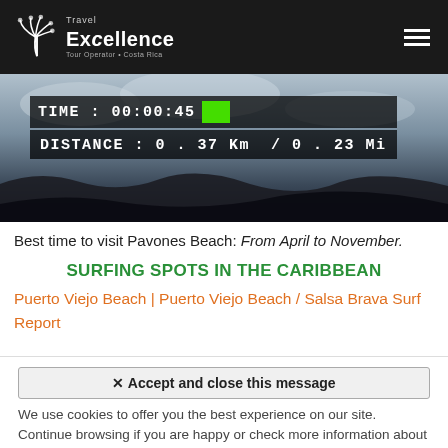Travel Excellence Tour Operator • Costa Rica
[Figure (screenshot): Video screenshot showing beach surf footage with overlaid timer: TIME: 00:00:45 and DISTANCE: 0.37 Km / 0.23 Mi]
Best time to visit Pavones Beach: From April to November.
SURFING SPOTS IN THE CARIBBEAN
Puerto Viejo Beach | Puerto Viejo Beach / Salsa Brava Surf Report
✕ Accept and close this message
We use cookies to offer you the best experience on our site. Continue browsing if you are happy or check more information about our protection and privacy policy..